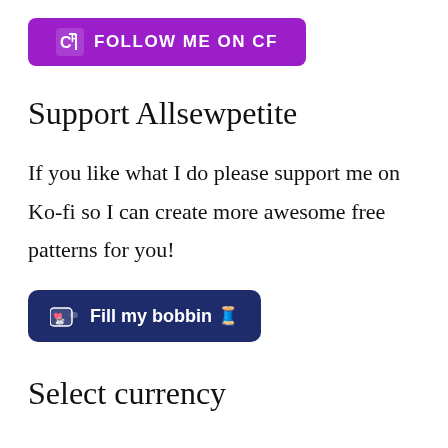[Figure (logo): Purple button with CF logo icon and text FOLLOW ME ON CF]
Support Allsewpetite
If you like what I do please support me on Ko-fi so I can create more awesome free patterns for you!
[Figure (logo): Dark navy blue Ko-fi button with heart cup icon and text Fill my bobbin with spool emoji]
Select currency